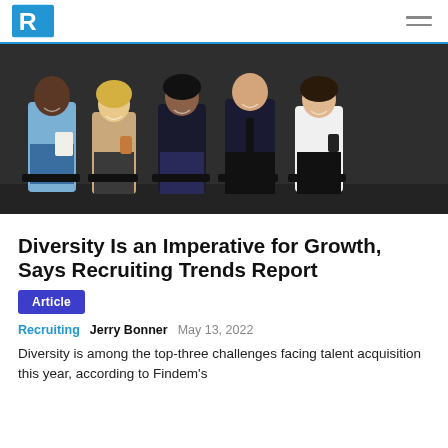R (logo)
[Figure (photo): Five diverse professionals sitting in a row on chairs, smiling and laughing, against a dark gray background. From left: a Black man in a light blue shirt holding papers, a White woman in a beige top with a coffee cup, a South Asian woman in a dark blazer, a White man in a dark suit with a tie, and a White woman in a white shirt holding a phone.]
Diversity Is an Imperative for Growth, Says Recruiting Trends Report
Article
Recruiting   Jerry Bonner   May 13, 2022
Diversity is among the top-three challenges facing talent acquisition this year, according to Findem's